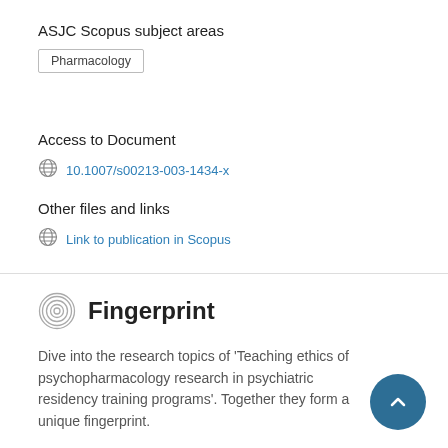ASJC Scopus subject areas
Pharmacology
Access to Document
10.1007/s00213-003-1434-x
Other files and links
Link to publication in Scopus
Fingerprint
Dive into the research topics of 'Teaching ethics of psychopharmacology research in psychiatric residency training programs'. Together they form a unique fingerprint.